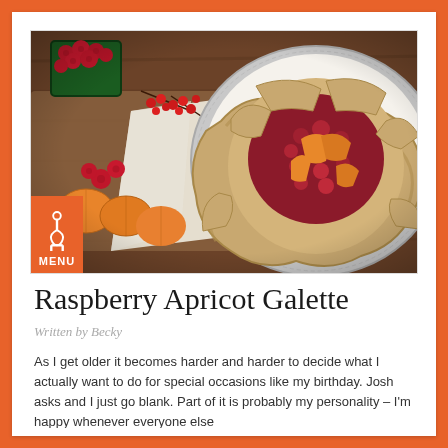[Figure (photo): A raspberry apricot galette on a silver pie plate with parchment paper, surrounded by fresh raspberries, red currants, and apricots on a wooden cutting board]
Raspberry Apricot Galette
Written by Becky
As I get older it becomes harder and harder to decide what I actually want to do for special occasions like my birthday. Josh asks and I just go blank. Part of it is probably my personality – I'm happy whenever everyone else